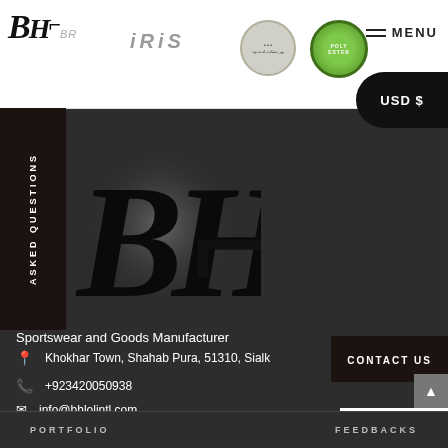[Figure (logo): BHL logo with stylized italic B and H letters]
[Figure (logo): IRIS brand logo text in grey italic letters]
[Figure (logo): Circular brand logo with Arabic text]
[Figure (logo): Green circular Polyester badge/seal]
MENU
USD $
ASKED QUESTIONS
[Figure (logo): Large BHL logo backlit on dark background]
Sportswear and Goods Manufacturer
Khokhar Town, Shahab Pura, 51310, Sialk
+923420050938
info@bhlolintl.com
CONTACT US
PORTFOLIO    FEEDBACKS